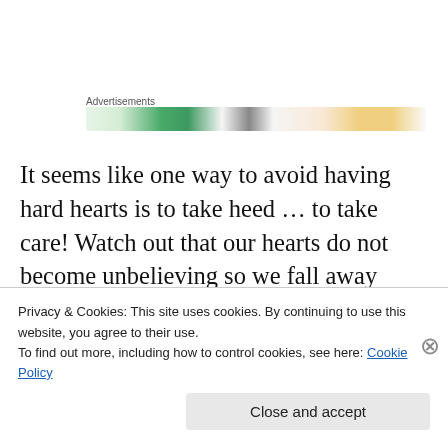[Figure (other): Advertisements banner with geometric colorful design (triangles, shapes in green, grey, orange/yellow tones)]
It seems like one way to avoid having hard hearts is to take heed … to take care! Watch out that our hearts do not become unbelieving so we fall away from the living God! I pray that you heed this warning Lindsey, for it seems to be talking about people who really are trying to follow Jesus … just that they let their guard down and a bit of disbelief
Privacy & Cookies: This site uses cookies. By continuing to use this website, you agree to their use.
To find out more, including how to control cookies, see here: Cookie Policy
Close and accept